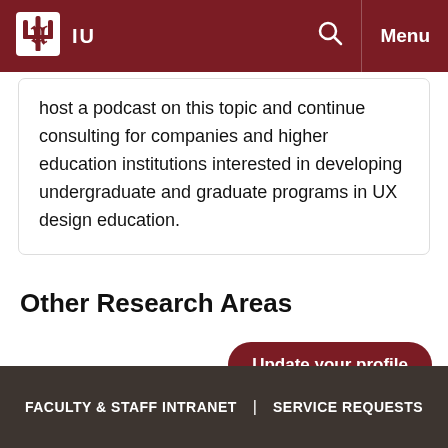IU  Menu
host a podcast on this topic and continue consulting for companies and higher education institutions interested in developing undergraduate and graduate programs in UX design education.
Other Research Areas
Update your profile
FACULTY & STAFF INTRANET  |  SERVICE REQUESTS